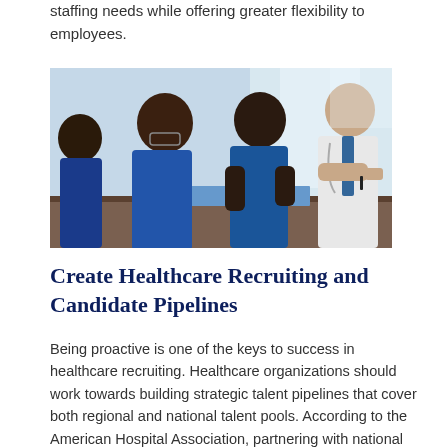staffing needs while offering greater flexibility to employees.
[Figure (photo): Healthcare professionals - medical staff in scrubs and a doctor in white coat sitting around a table reviewing documents together]
Create Healthcare Recruiting and Candidate Pipelines
Being proactive is one of the keys to success in healthcare recruiting. Healthcare organizations should work towards building strategic talent pipelines that cover both regional and national talent pools. According to the American Hospital Association, partnering with national and state job boards, public health departments, professional associations, universities, and nursing